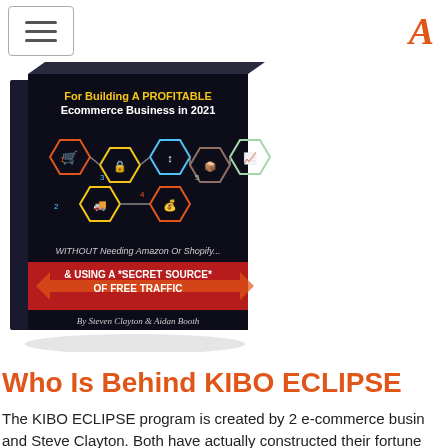≡  A
[Figure (photo): 3D book cover titled 'For Building A PROFITABLE Ecommerce Business in 2021' with hexagonal icons connected by arrows, text 'WITHOUT Needing Amazon Or Shopify...' and '& USING A *SECRET SOURCE* OF FREE TRAFFIC', by Steven Clayton & Aidan Booth]
Who Is Behind KIBO ECLIPSE
The KIBO ECLIPSE program is created by 2 e-commerce busin and Steve Clayton. Both have actually constructed their fortune